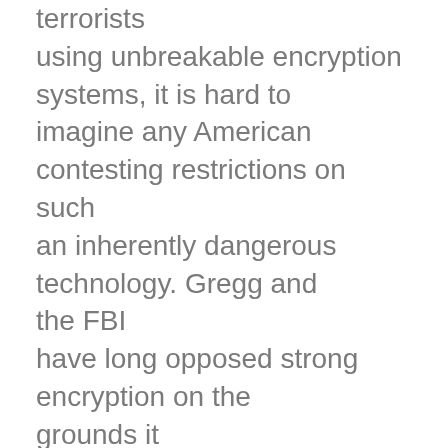terrorists using unbreakable encryption systems, it is hard to imagine any American contesting restrictions on such an inherently dangerous technology. Gregg and the FBI have long opposed strong encryption on the grounds it limits the ability to conduct searches and execute wiretaps. That's because in recent years, cops have been increasingly frustrated by encrypted files on seized computers in cases involving financial crimes, child pornography and drug dealing. To the FBI's vaunted